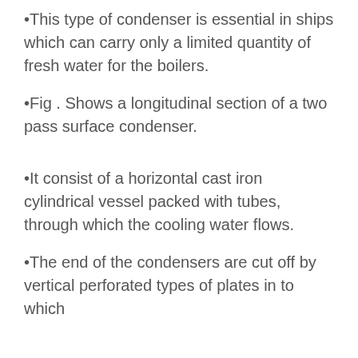This type of condenser is essential in ships which can carry only a limited quantity of fresh water for the boilers.
Fig . Shows a longitudinal section of a two pass surface condenser.
It consist of a horizontal cast iron cylindrical vessel packed with tubes, through which the cooling water flows.
The end of the condensers are cut off by vertical perforated types of plates in to which